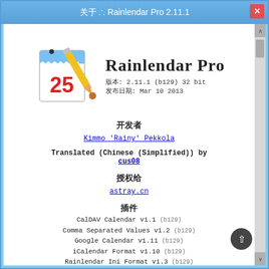关于 ∴ Rainlendar Pro 2.11.1
[Figure (logo): Rainlendar Pro application logo: calendar with '25' and pencil]
Rainlendar Pro
版本: 2.11.1 (b129) 32 bit
发布日期: Mar 10 2013
开发者
Kimmo 'Rainy' Pekkola
Translated (Chinese (Simplified)) by
cus08
授权给
astray.cn
插件
CalDAV Calendar v1.1 (b129)
Comma Separated Values v1.2 (b129)
Google Calendar v1.11 (b129)
iCalendar Format v1.10 (b129)
Rainlendar Ini Format v1.3 (b129)
Network Shared Calendar v1.10 (b129)
Microsoft Outlook v1.11 (b129)